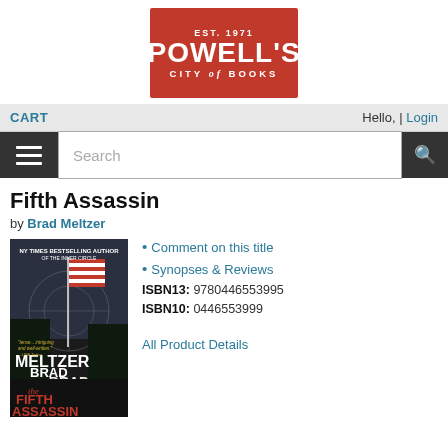[Figure (logo): Powell's City of Books logo — red background, white text, EST. 1971 at top, POWELL'S large bold, CITY of BOOKS below]
CART   Hello, | Login
Search
Fifth Assassin
by Brad Meltzer
[Figure (photo): Book cover for The Fifth Assassin by Brad Meltzer — dark cover with American flag and sniper crosshair, orange title text at bottom]
Comment on this title
Synopses & Reviews
ISBN13: 9780446553995
ISBN10: 0446553999
All Product Details